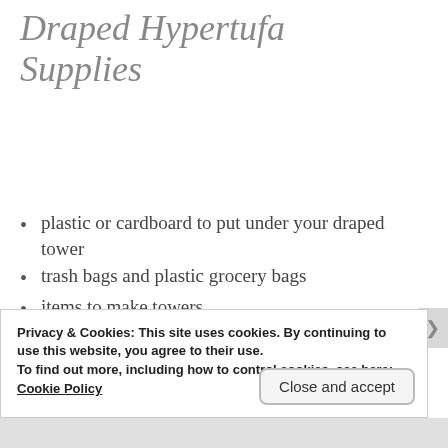Draped Hypertufa Supplies
plastic or cardboard to put under your draped tower
trash bags and plastic grocery bags
items to make towers
rubber kitchen gloves
dust mask
Privacy & Cookies: This site uses cookies. By continuing to use this website, you agree to their use.
To find out more, including how to control cookies, see here:
Cookie Policy
Close and accept